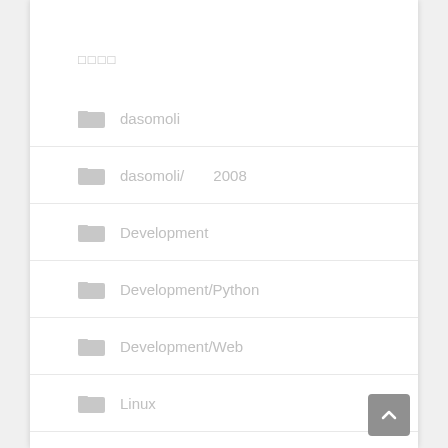□□□□
dasomoli
dasomoli/　　　2008
Development
Development/Python
Development/Web
Linux
Linux/Ubuntu
Mac
Reading
Reading/